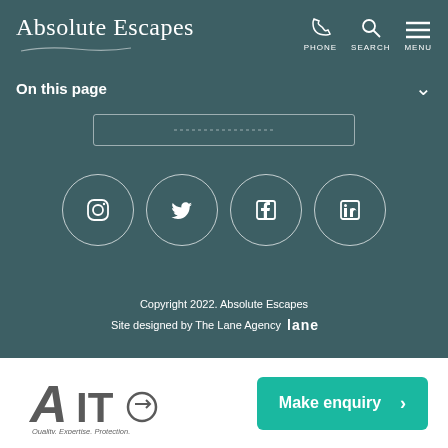Absolute Escapes — PHONE SEARCH MENU
On this page
[Figure (screenshot): Social media icons row: Instagram, Twitter, Facebook, LinkedIn — each in a white-outlined circle on teal background]
Copyright 2022. Absolute Escapes
Site designed by The Lane Agency [Lane Agency logo]
[Figure (logo): AITO logo with tagline: Quality. Expertise. Protection.]
Make enquiry >